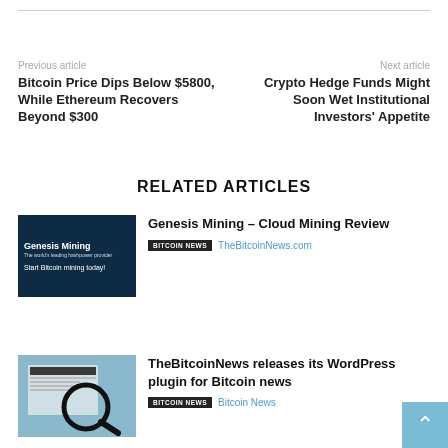Previous article
Bitcoin Price Dips Below $5800, While Ethereum Recovers Beyond $300
Next article
Crypto Hedge Funds Might Soon Wet Institutional Investors' Appetite
RELATED ARTICLES
[Figure (photo): Genesis Mining advertisement image with dark blue background, text: Genesis Mining - The world's leading hashpower provider, Start Bitcoin mining today!]
Genesis Mining – Cloud Mining Review
BITCOIN NEWS  TheBitcoinNews.com
[Figure (photo): WordPress website screenshot with magnifying glass on screen showing TheBitcoinNews plugin]
TheBitcoinNews releases its WordPress plugin for Bitcoin news
BITCOIN NEWS  Bitcoin News